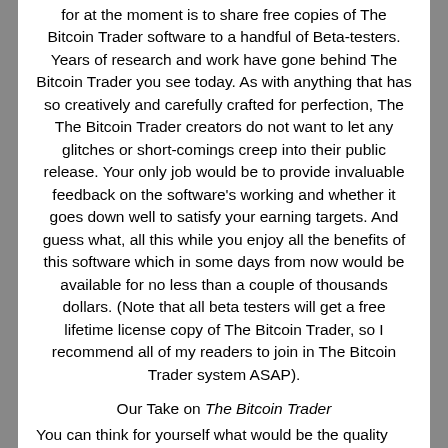for at the moment is to share free copies of The Bitcoin Trader software to a handful of Beta-testers. Years of research and work have gone behind The Bitcoin Trader you see today. As with anything that has so creatively and carefully crafted for perfection, The The Bitcoin Trader creators do not want to let any glitches or short-comings creep into their public release. Your only job would be to provide invaluable feedback on the software's working and whether it goes down well to satisfy your earning targets. And guess what, all this while you enjoy all the benefits of this software which in some days from now would be available for no less than a couple of thousands dollars. (Note that all beta testers will get a free lifetime license copy of The Bitcoin Trader, so I recommend all of my readers to join in The Bitcoin Trader system ASAP).
Our Take on The Bitcoin Trader
You can think for yourself what would be the quality